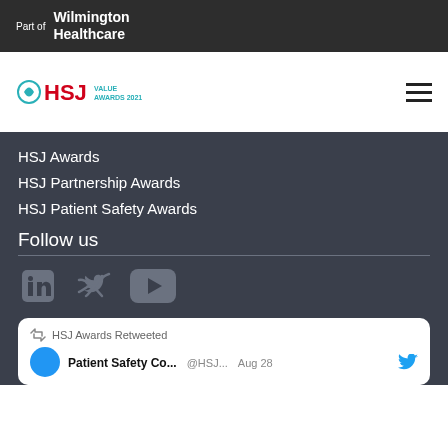Part of Wilmington Healthcare
[Figure (logo): HSJ Value Awards 2021 logo with hamburger menu icon]
HSJ Awards
HSJ Partnership Awards
HSJ Patient Safety Awards
Follow us
[Figure (illustration): LinkedIn, Twitter, and YouTube social media icons in grey]
HSJ Awards Retweeted
Patient Safety Co... @HSJ... Aug 28